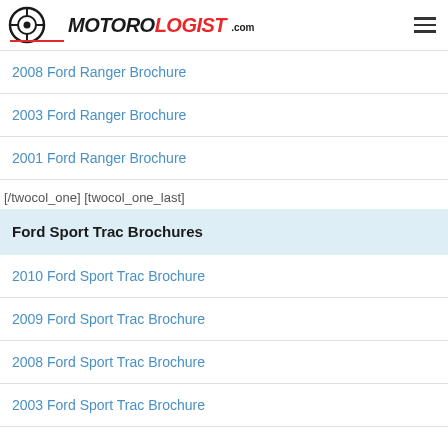MOTOROLOGIST.com
2008 Ford Ranger Brochure
2003 Ford Ranger Brochure
2001 Ford Ranger Brochure
[/twocol_one] [twocol_one_last]
Ford Sport Trac Brochures
2010 Ford Sport Trac Brochure
2009 Ford Sport Trac Brochure
2008 Ford Sport Trac Brochure
2003 Ford Sport Trac Brochure